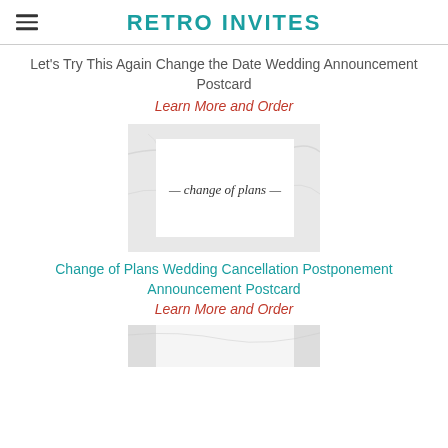RETRO INVITES
Let's Try This Again Change the Date Wedding Announcement Postcard
Learn More and Order
[Figure (photo): Product image of a 'change of plans' postcard on a marble background]
Change of Plans Wedding Cancellation Postponement Announcement Postcard
Learn More and Order
[Figure (photo): Partial product image at bottom of page]